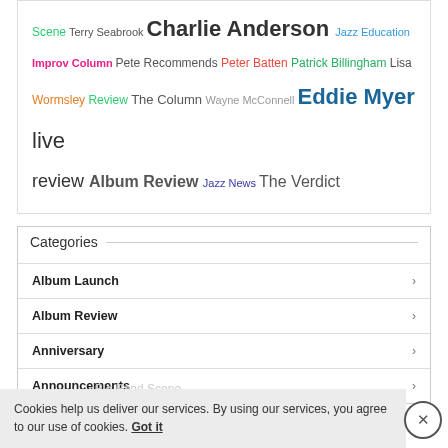Scene Terry Seabrook Charlie Anderson Jazz Education Improv Column Pete Recommends Peter Batten Patrick Billingham Lisa Wormsley Review The Column Wayne McConnell Eddie Myer live review Album Review Jazz News The Verdict
Categories
Album Launch
Album Review
Anniversary
Announcements
Big Band Scene
Cookies help us deliver our services. By using our services, you agree to our use of cookies. Got it